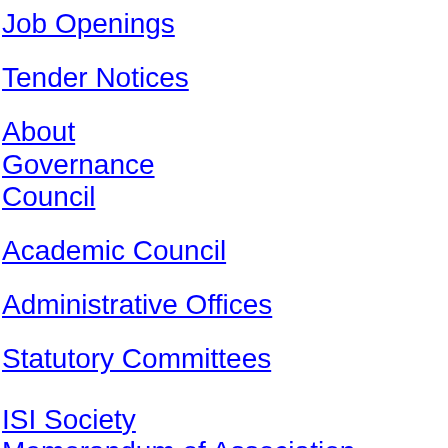Job Openings
Tender Notices
About
Governance
Council
Academic Council
Administrative Offices
Statutory Committees
ISI Society
Memorandum of Association
Regulations & Bye Laws
Activities
Membership